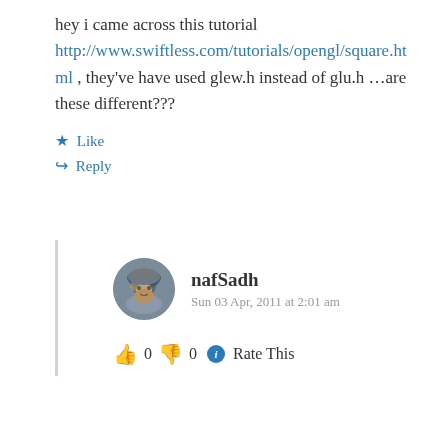hey i came across this tutorial http://www.swiftless.com/tutorials/opengl/square.html , they've have used glew.h instead of glu.h …are these different???
★ Like
↪ Reply
nafSadh
Sun 03 Apr, 2011 at 2:01 am
👍 0 👎 0 ℹ Rate This